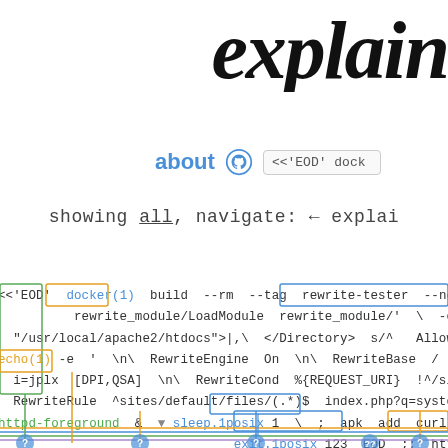explain
about  <<'EOD' dock
showing all, navigate: ← explai
[Figure (screenshot): explainshell.com command annotation diagram showing a docker build shell command broken down with colored bracket annotations linking tokens to their explanations. Command includes: <<'EOD' docker(1) build --rm --tag rewrite-tester --no-cache, rewrite_module/LoadModule rewrite_module/' -e 's/^LogL, /usr/local/apache2/htdocs">|,\ </Directory> s/^ AllowOverride, echo(1) -e '\n\ RewriteEngine On \n\ RewriteBase / \n\ Rew, i=jplx [DPI,QSA] \n\ RewriteCond %{REQUEST_URI} !^/sites/default/, RewriteRule ^sites/default/files/(.*)$ index.php?q=system/files/$1, httpd-foreground & sleep.1posix 1 \ ; apk add curl \;, exit.1posix 123 EOD ;; http. With question mark badges at the bottom.]